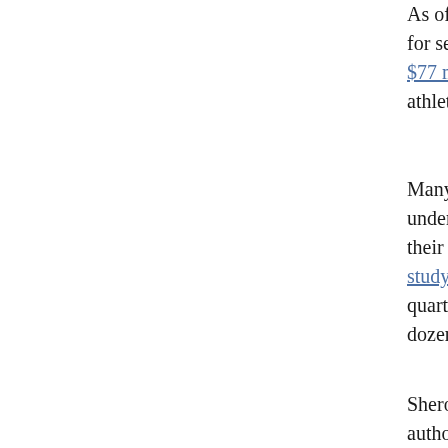As of 2014, fewer than 2 percent of athletes in the NC... for self-serving reasons, critics say, (Clemson Univers... $77 million in average annual revenue from 2015 thro... athletes to "academic paths of least resistance."
Many schools practice "major clustering," in which pl... undemanding major, such as communications, so they... their sport. Major clustering is more pronounced amor... study of football teams at 11 universities. At six of tho... quarters of the non-White football players were enroll... dozens of majors were offered.
Sheron Mark, an associate professor of science educat... authored a 2019 case study of two young Black men w... scholarships, with the intent to pursue respective caree... But both found it difficult to balance academics with a... blandishments from coaches and faculty advisers.
"For so long, they've been sold this message that you c... a professional sports career is one of very few options... station in life," says Mark. It's important to have a pla... in their favor." But coaches can discourage academica... cut into practice time, and college athletes are not alwa... because their financial packages are tied to fulfillment...
Many Black college athletes are already strong candid... but others may need extra academic support to compo...